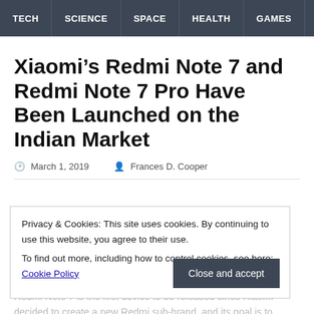TECH   SCIENCE   SPACE   HEALTH   GAMES
Xiaomi’s Redmi Note 7 and Redmi Note 7 Pro Have Been Launched on the Indian Market
March 1, 2019   Frances D. Cooper
Xiaomi’s new smartphones, Redmi Note 7 and Redmi Note 7 Pro, during the recent press conference… company did not wait long to unveil its new lineup, even though it launched Redmi Note 6 Pro just a few months ago. Redmi Note 7 is the first device to be released since Xiaomi decided to create a new Redmi sub-brand, and its goal is to
Privacy & Cookies: This site uses cookies. By continuing to use this website, you agree to their use.
To find out more, including how to control cookies, see here: Cookie Policy